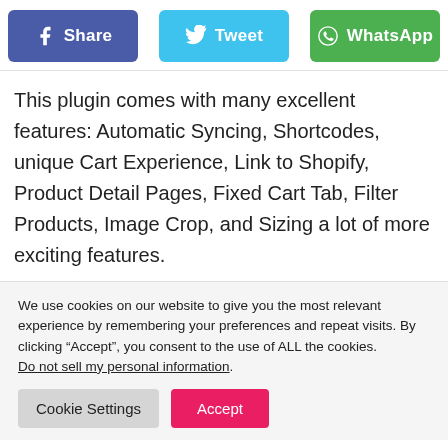[Figure (screenshot): Social share buttons: Facebook Share (blue-purple), Tweet (light blue), WhatsApp (green)]
This plugin comes with many excellent features: Automatic Syncing, Shortcodes, unique Cart Experience, Link to Shopify, Product Detail Pages, Fixed Cart Tab, Filter Products, Image Crop, and Sizing a lot of more exciting features.
We use cookies on our website to give you the most relevant experience by remembering your preferences and repeat visits. By clicking “Accept”, you consent to the use of ALL the cookies. Do not sell my personal information.